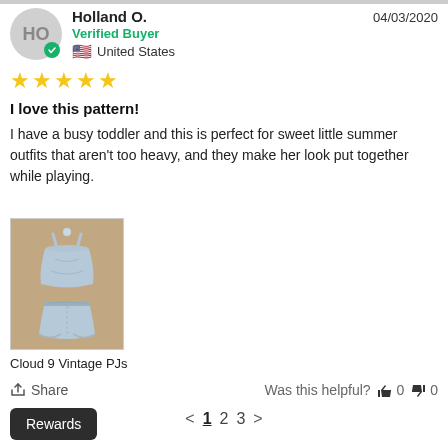Holland O.
Verified Buyer
United States
04/03/2020
★★★★★
I love this pattern!
I have a busy toddler and this is perfect for sweet little summer outfits that aren't too heavy, and they make her look put together while playing.
[Figure (photo): Photo of a light blue toddler outfit (top and bloomers) laid on a brown surface, labeled Cloud 9 Vintage PJs]
Cloud 9 Vintage PJs
Share   Was this helpful?  👍 0  👎 0
< 1 2 3 >